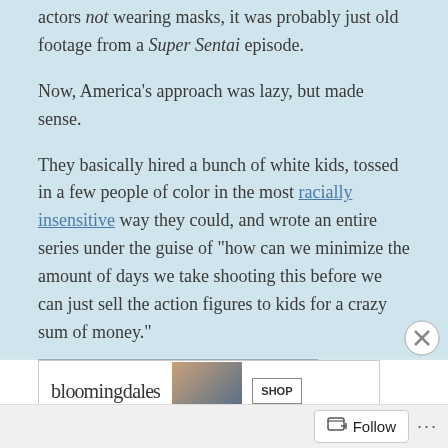actors not wearing masks, it was probably just old footage from a Super Sentai episode.
Now, America's approach was lazy, but made sense.
They basically hired a bunch of white kids, tossed in a few people of color in the most racially insensitive way they could, and wrote an entire series under the guise of "how can we minimize the amount of days we take shooting this before we can just sell the action figures to kids for a crazy sum of money."
Advertisements
[Figure (screenshot): Bloomingdale's advertisement banner with shop button]
Follow